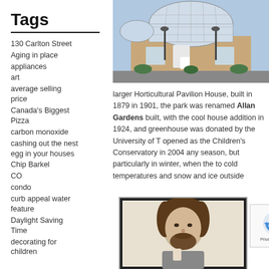Tags
130 Carlton Street
Aging in place
appliances
art
average selling price
Canada's Biggest Pizza
carbon monoxide
cashing out the nest egg in your houses
Chip Barkel
CO
condo
curb appeal water feature
Daylight Saving Time
decorating for children
[Figure (photo): Exterior of Horticultural Pavilion House with glass dome roof]
larger Horticultural Pavilion House, built in 1879 in 1901, the park was renamed Allan Gardens built, with the cool house addition in 1924, and greenhouse was donated by the University of T opened as the Children's Conservatory in 2004 any season, but particularly in winter, when the to cold temperatures and snow and ice outside
[Figure (photo): Black and white portrait photograph of a man with beard, framed]